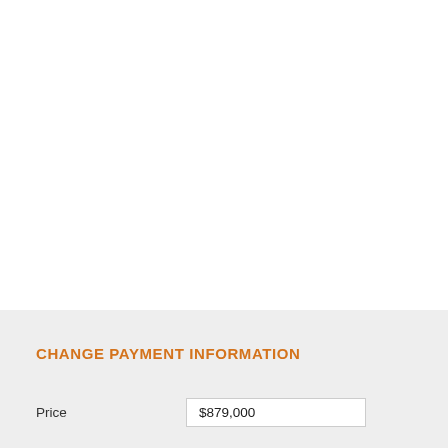CHANGE PAYMENT INFORMATION
|  |  |
| --- | --- |
| Price | $879,000 |